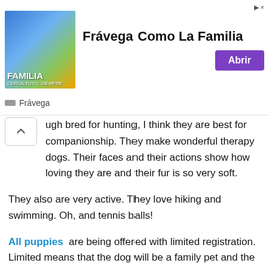[Figure (screenshot): Advertisement banner for Frávega showing 'Frávega Como La Familia' with a group photo, purple 'Abrir' button, and Frávega logo at bottom]
ugh bred for hunting, I think they are best for companionship. They make wonderful therapy dogs. Their faces and their actions show how loving they are and their fur is so very soft.
They also are very active. They love hiking and swimming. Oh, and tennis balls!
All puppies  are being offered with limited registration. Limited means that the dog will be a family pet and the owner will not be able to use the dog for breeding purposes and the dog may not be allowed in some AKC shows.
Unlimited means that there are no limitations on breeding or